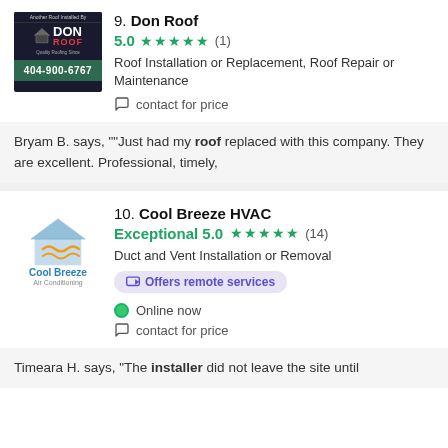9. Don Roof
5.0 ★★★★★ (1)
Roof Installation or Replacement, Roof Repair or Maintenance
contact for price
Bryam B. says, ""Just had my roof replaced with this company. They are excellent. Professional, timely,
10. Cool Breeze HVAC
Exceptional 5.0 ★★★★★ (14)
Duct and Vent Installation or Removal
Offers remote services
Online now
contact for price
Timeara H. says, "The installer did not leave the site until